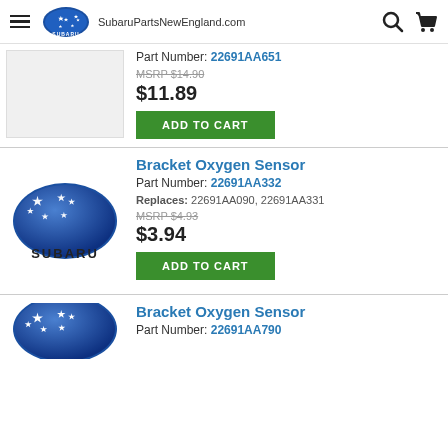SubaruPartsNewEngland.com
Part Number: 22691AA651
MSRP $14.90
$11.89
ADD TO CART
Bracket Oxygen Sensor
Part Number: 22691AA332
Replaces: 22691AA090, 22691AA331
MSRP $4.93
$3.94
ADD TO CART
Bracket Oxygen Sensor
Part Number: 22691AA790